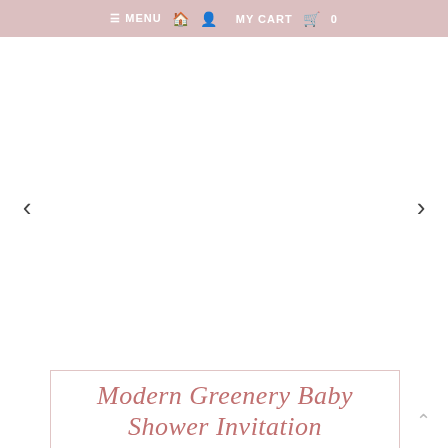☰ MENU  🏠  👤  MY CART  🛒  0
[Figure (other): E-commerce product image slider area with left and right navigation arrows, currently showing a blank/white product image placeholder.]
Modern Greenery Baby Shower Invitation